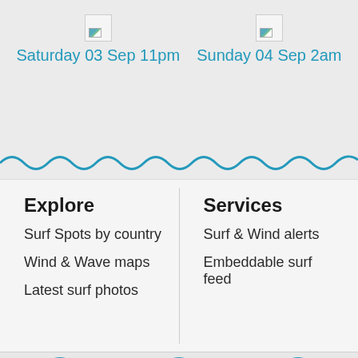Saturday 03 Sep 11pm
Sunday 04 Sep 2am
[Figure (other): Wavy blue line divider]
Explore
Surf Spots by country
Wind & Wave maps
Latest surf photos
Services
Surf & Wind alerts
Embeddable surf feed
[Figure (illustration): Social media icons: Facebook, Instagram, Twitter]